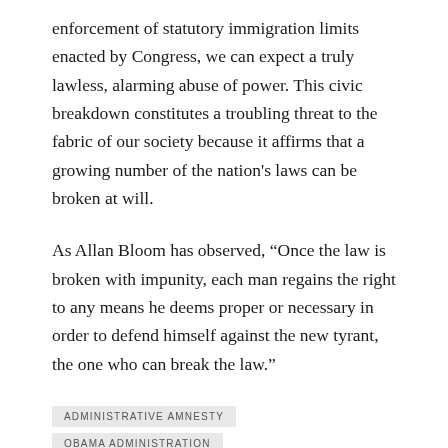enforcement of statutory immigration limits enacted by Congress, we can expect a truly lawless, alarming abuse of power. This civic breakdown constitutes a troubling threat to the fabric of our society because it affirms that a growing number of the nation's laws can be broken at will.
As Allan Bloom has observed, “Once the law is broken with impunity, each man regains the right to any means he deems proper or necessary in order to defend himself against the new tyrant, the one who can break the law.”
ADMINISTRATIVE AMNESTY
OBAMA ADMINISTRATION